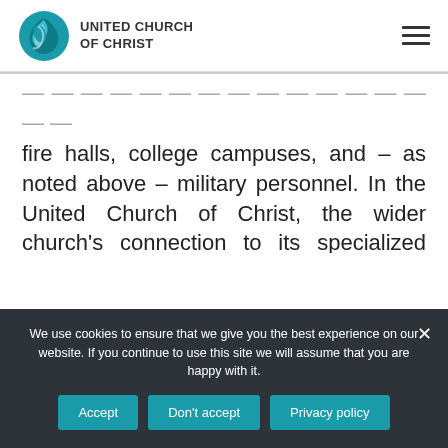UNITED CHURCH OF CHRIST
fire halls, college campuses, and – as noted above – military personnel. In the United Church of Christ, the wider church's connection to its specialized ministers is witnessed and affirmed through four-way covenants, samples of which can be found on the Committees on Ministry webpage. While four-way covenants
We use cookies to ensure that we give you the best experience on our website. If you continue to use this site we will assume that you are happy with it.
Accept
Don't accept
Privacy policy